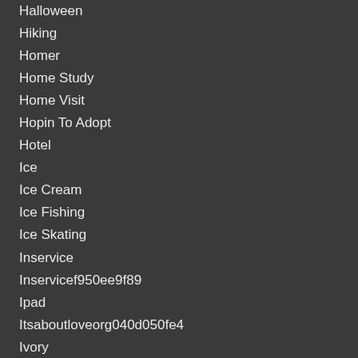Halloween
Hiking
Homer
Home Study
Home Visit
Hopin To Adopt
Hotel
Ice
Ice Cream
Ice Fishing
Ice Skating
Inservice
Inservicef950ee9f89
Ipad
Itsaboutloveorg040d050fe4
Ivory
Jiu Jitsu
Kansas City
Kaylee
Keyboard
Kodiak